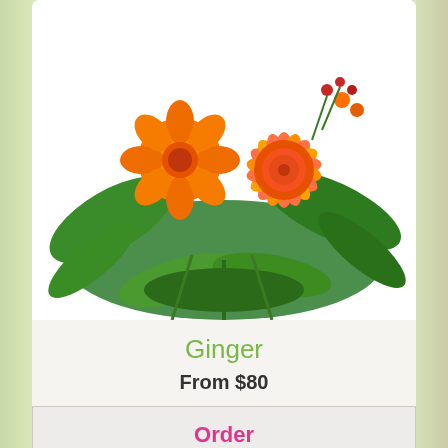[Figure (photo): Orange gerbera daisy and ranunculus bouquet with green leaves on white background]
Ginger
From $80
Order
[Figure (photo): Colorful mixed flower bouquet with pink roses, red roses, purple and white daisies on pink background]